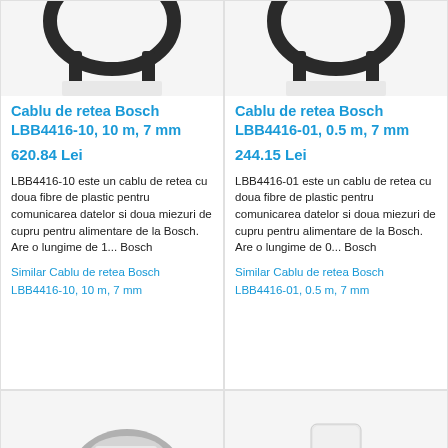[Figure (photo): Bosch LBB4416-10 network cable, top portion showing black cable loop]
Cablu de retea Bosch LBB4416-10, 10 m, 7 mm
620.84 Lei
LBB4416-10 este un cablu de retea cu doua fibre de plastic pentru comunicarea datelor si doua miezuri de cupru pentru alimentare de la Bosch. Are o lungime de 1... Bosch
Similar Cablu de retea Bosch LBB4416-10, 10 m, 7 mm
[Figure (photo): Bosch LBB4416-01 network cable, top portion showing black cable loop]
Cablu de retea Bosch LBB4416-01, 0.5 m, 7 mm
244.15 Lei
LBB4416-01 este un cablu de retea cu doua fibre de plastic pentru comunicarea datelor si doua miezuri de cupru pentru alimentare de la Bosch. Are o lungime de 0... Bosch
Similar Cablu de retea Bosch LBB4416-01, 0.5 m, 7 mm
[Figure (photo): Barcode scanner, grey and black handheld device with yellow trigger]
[Figure (photo): White rectangular sensor device with a red line/indicator]